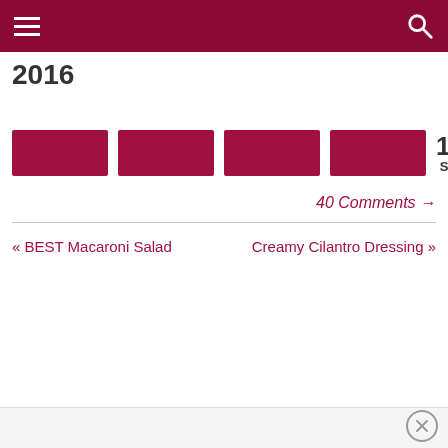Navigation header with hamburger menu and search icon
2016
[Figure (other): Four dark red/crimson social share buttons in a row, followed by share count: 1207 SHARES]
40 Comments →
« BEST Macaroni Salad    Creamy Cilantro Dressing »
Bottom bar with close (×) button